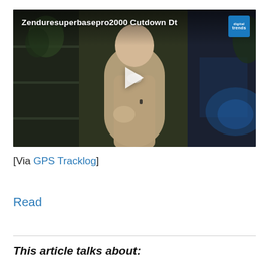[Figure (screenshot): Video thumbnail showing a man in a beige jacket speaking to camera, with title 'Zenduresuperbasepro2000 Cutdown Dt' and Digital Trends logo badge in top right corner, and a play button in the center]
[Via GPS Tracklog]
Read
This article talks about: